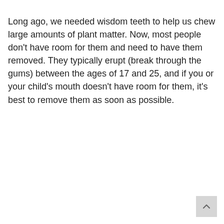Long ago, we needed wisdom teeth to help us chew large amounts of plant matter. Now, most people don't have room for them and need to have them removed. They typically erupt (break through the gums) between the ages of 17 and 25, and if you or your child's mouth doesn't have room for them, it's best to remove them as soon as possible.